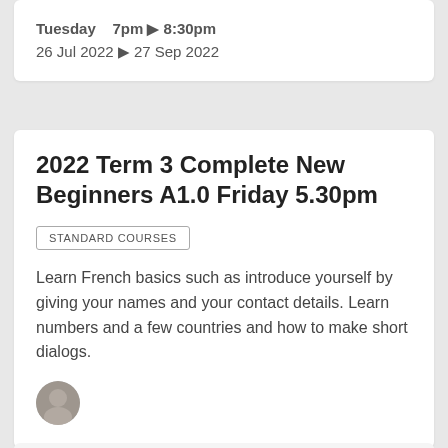Tuesday   7pm ▶ 8:30pm
26 Jul 2022 ▶ 27 Sep 2022
2022 Term 3 Complete New Beginners A1.0 Friday 5.30pm
STANDARD COURSES
Learn French basics such as introduce yourself by giving your names and your contact details. Learn numbers and a few countries and how to make short dialogs.
[Figure (photo): Small circular avatar photo of an instructor]
Friday   5:30pm ▶ 7pm
29 Jul 2022 ▶ 30 Sep 2022